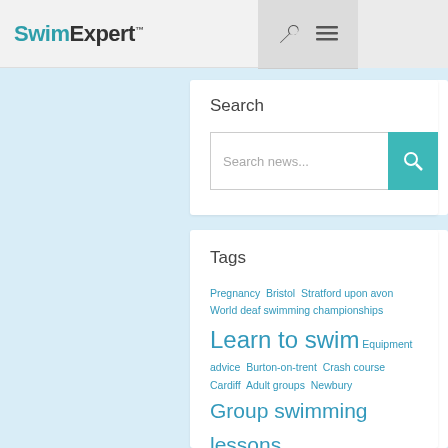SwimExpert
Search
Search news...
Tags
Pregnancy  Bristol  Stratford upon avon  World deaf swimming championships  Learn to swim  Equipment advice  Burton-on-trent  Crash course  Cardiff  Adult groups  Newbury  Group swimming lessons  Theswimmingshop  Private swimming lessons  Wales  hydrokidz